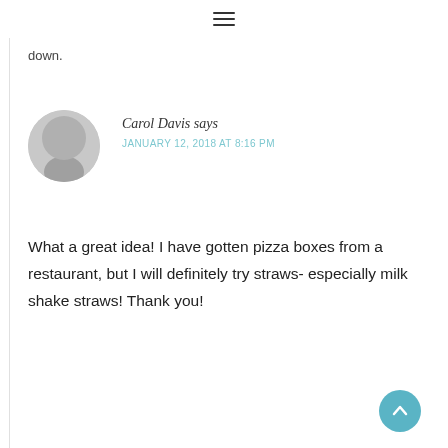≡
down.
Carol Davis says
JANUARY 12, 2018 AT 8:16 PM
What a great idea! I have gotten pizza boxes from a restaurant, but I will definitely try straws- especially milk shake straws! Thank you!